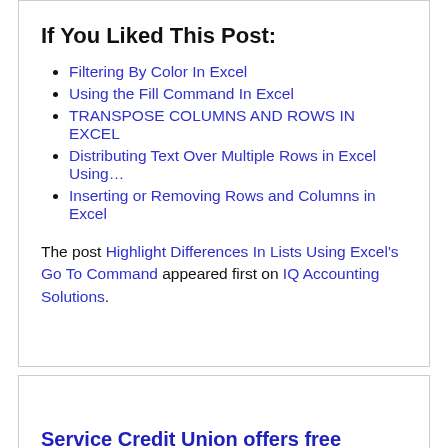If You Liked This Post:
Filtering By Color In Excel
Using the Fill Command In Excel
TRANSPOSE COLUMNS AND ROWS IN EXCEL
Distributing Text Over Multiple Rows in Excel Using…
Inserting or Removing Rows and Columns in Excel
The post Highlight Differences In Lists Using Excel's Go To Command appeared first on IQ Accounting Solutions.
Service Credit Union offers free access